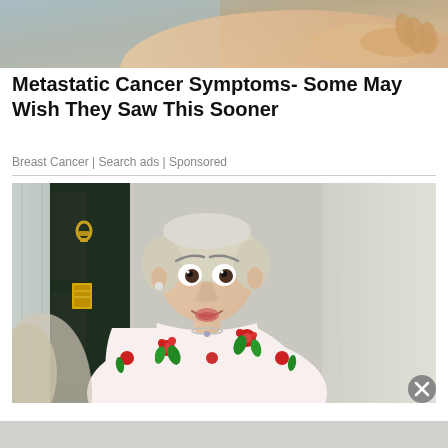[Figure (photo): Close-up photo of hands touching or examining an area, suggesting a medical examination context related to breast cancer]
Metastatic Cancer Symptoms- Some May Wish They Saw This Sooner
Breast Cancer | Search ads | Sponsored
[Figure (photo): Photo of an older woman with short white/blonde hair wearing a white floral shirt standing at a doorway with a green door, looking surprised or concerned]